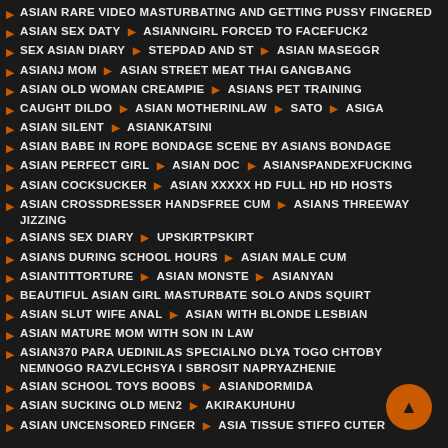ASIAN RARE VIDEO MASTURBATING AND GETTING PUSSY FINGERED
ASIAN SEX DATY ▶ ASIANNGIRL FORCED TO FACEFUCK2
SEX ASIAN DIARY ▶ STEPDAD AND ST ▶ ASIAN MASEGGR
ASIANJ MOM ▶ ASIAN STREET MEAT THAI GANGBANG
ASIAN OLD WOMAN CREAMPIE ▶ ASIANS PET TRAINING
CAUGHT DILDO ▶ ASIAN MOTHERINLAW ▶ SATO ▶ ASIGA
ASIAN SILENT ▶ ASIANKATSINI
ASIAN BABE IN ROPE BONDAGE SCENE BY ASIANS BONDAGE
ASIAN PERFECT GIRL ▶ ASIAN DOC ▶ ASIANSPANDEXFUCKING
ASIAN COCKSUCKER ▶ ASIAN XXXXX HD FULL HD HD HOSTS
ASIAN CROSSDRESSER HANDSFREE CUM ▶ ASIANS THREEWAY JIZZING
ASIANS SEX DIARY ▶ UPSKIRTPSKIRT
ASIANS DURING SCHOOL HOURS ▶ ASIAN MALE CUM
ASIANTITTORTURE ▶ ASIAN MONSTE ▶ ASIANYAN
BEAUTIFUL ASIAN GIRL MASTURBATE SOLO ANDS SQUIRT
ASIAN SLUT WIFE ANAL ▶ ASIAN WITH BLONDE LESBIAN
ASIAN MATURE MOM WITH SON IN LAW
ASIAN370 PARA UEDINILAS SPECIALNO DLYA TOGO CHTOBY NEMNOGO RAZVLECHSYA I SBROSIT NAPRYAZHENIE
ASIAN SCHOOL TOYS BOOBS ▶ ASIANDORMIDA
ASIAN SUCKING OLD MEN2 ▶ AKIRAKUHUHU
ASIAN UNCENSORED FINGER ▶ ASIA TISSUE STIFFO CUTER